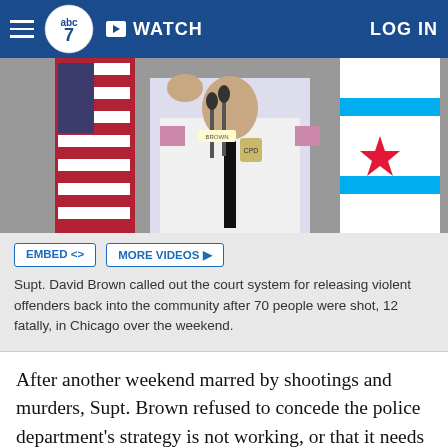abc7 | WATCH | LOG IN
[Figure (photo): Police superintendent David Brown in white uniform at a podium with microphones, American flag and Chicago flag in background]
Supt. David Brown called out the court system for releasing violent offenders back into the community after 70 people were shot, 12 fatally, in Chicago over the weekend.
After another weekend marred by shootings and murders, Supt. Brown refused to concede the police department's strategy is not working, or that it needs to be changed.
"What can Chicago police officers do? They can